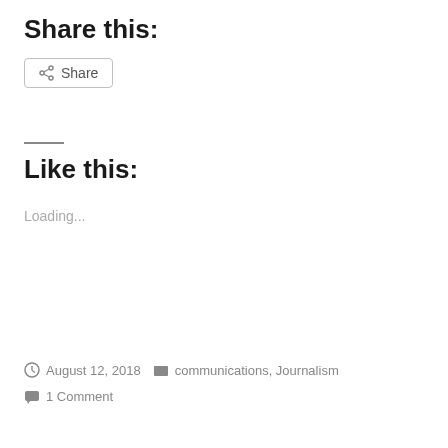Share this:
[Figure (other): Share button with share icon]
Like this:
Loading...
August 12, 2018   communications, Journalism   1 Comment